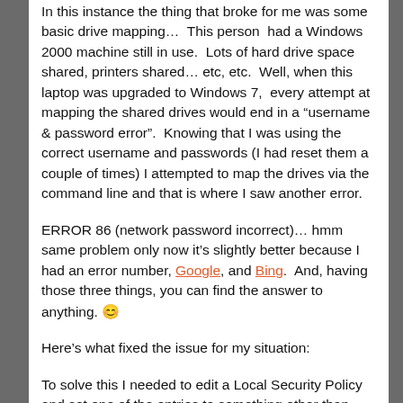In this instance the thing that broke for me was some basic drive mapping…  This person  had a Windows 2000 machine still in use.  Lots of hard drive space shared, printers shared… etc, etc.  Well, when this laptop was upgraded to Windows 7,  every attempt at mapping the shared drives would end in a “username & password error”.  Knowing that I was using the correct username and passwords (I had reset them a couple of times) I attempted to map the drives via the command line and that is where I saw another error.
ERROR 86 (network password incorrect)… hmm same problem only now it’s slightly better because I had an error number, Google, and Bing.  And, having those three things, you can find the answer to anything. 😊
Here’s what fixed the issue for my situation:
To solve this I needed to edit a Local Security Policy and set one of the entries to something other than “Not Defined” as it